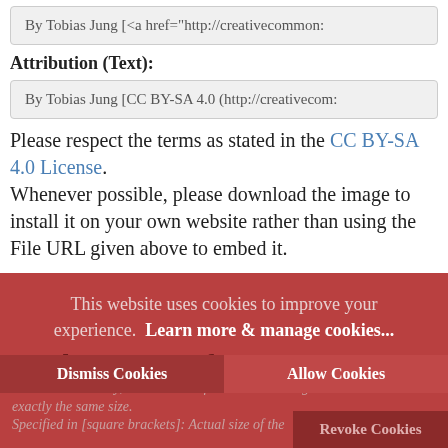By Tobias Jung [<a href="http://creativecommon:
Attribution (Text):
By Tobias Jung [CC BY-SA 4.0 (http://creativecom:
Please respect the terms as stated in the CC BY-SA 4.0 License. Whenever possible, please download the image to install it on your own website rather than using the File URL given above to embed it.
This website uses cookies to improve your experience.  Learn more & manage cookies...
Further Images of Mercator
Note: Occasionally, the variants of »other« sizes might be almost or even exactly the same size.
Specified in [square brackets]: Actual size of the
Dismiss Cookies
Allow Cookies
Revoke Cookies